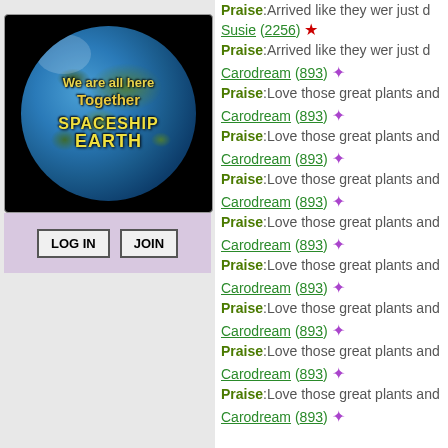[Figure (illustration): Globe with text 'We are all here Together SPACESHIP EARTH' on black background]
LOG IN  JOIN
Praise:Arrived like they wer just d
Susie (2256) ★ Praise:Arrived like they wer just d
Carodream (893) ✦ Praise:Love those great plants and
Carodream (893) ✦ Praise:Love those great plants and
Carodream (893) ✦ Praise:Love those great plants and
Carodream (893) ✦ Praise:Love those great plants and
Carodream (893) ✦ Praise:Love those great plants and
Carodream (893) ✦ Praise:Love those great plants and
Carodream (893) ✦ Praise:Love those great plants and
Carodream (893) ✦ Praise:Love those great plants and
Carodream (893) ✦ Praise:Love those great plants and
Carodream (893)